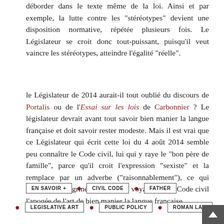déborder dans le texte même de la loi. Ainsi et par exemple, la lutte contre les "stéréotypes" devient une disposition normative, répétée plusieurs fois. Le Législateur se croit donc tout-puissant, puisqu'il veut vaincre les stéréotypes, atteindre l'égalité "réelle".
le Législateur de 2014 aurait-il tout oublié du discours de Portalis ou de l'Essai sur les lois de Carbonnier ? Le législateur devrait avant tout savoir bien manier la langue française et doit savoir rester modeste. Mais il est vrai que ce Législateur qui écrit cette loi du 4 août 2014 semble peu connaître le Code civil, lui qui y raye le "bon père de famille", parce qu'il croit l'expression "sexiste" et la remplace par un adverbe ("raisonnablement"), ce qui aurait bien chagriné Stendhal qui voyait dans le Code civil l'apogée de l'art de bien manier la langue française.
EN SAVOIR +
CIVIL CODE
FATHER
LEGISLATIVE ART
PUBLIC POLICY
ROMAN LAW